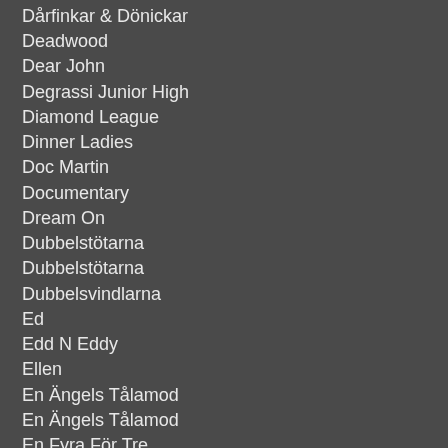Dårfinkar & Dönickar
Deadwood
Dear John
Degrassi Junior High
Diamond League
Dinner Ladies
Doc Martin
Documentary
Dream On
Dubbelstötarna
Dubbelstötarna
Dubbelsvindlarna
Ed
Edd N Eddy
Ellen
En Ängels Tålamod
En Ängels Tålamod
En Fyra För Tre
En Fyra För Tre
En Fyra För Tre
En Himla Många Program